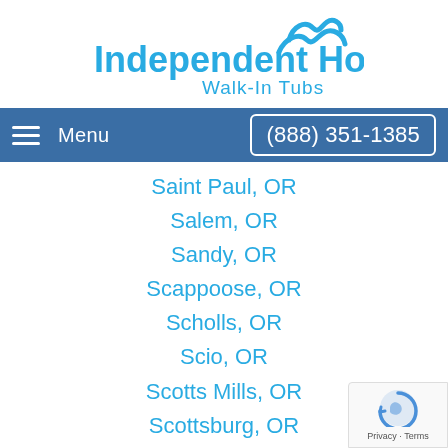[Figure (logo): Independent Home Walk-In Tubs logo with wave icon and blue text]
Menu   (888) 351-1385
Saint Paul, OR
Salem, OR
Sandy, OR
Scappoose, OR
Scholls, OR
Scio, OR
Scotts Mills, OR
Scottsburg, OR
Seal Rock, OR
Seaside, OR